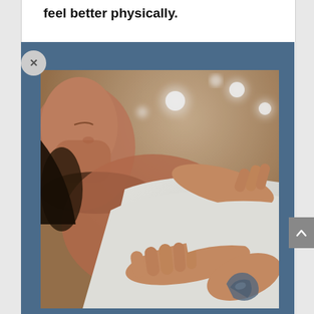feel better physically.
[Figure (photo): A person lying down receiving a massage or healing touch therapy. A practitioner in a white top places their hands on the person's chest/shoulder area. The person appears relaxed with eyes closed. Bokeh light spots visible in background. A tattoo is visible on the practitioner's forearm.]